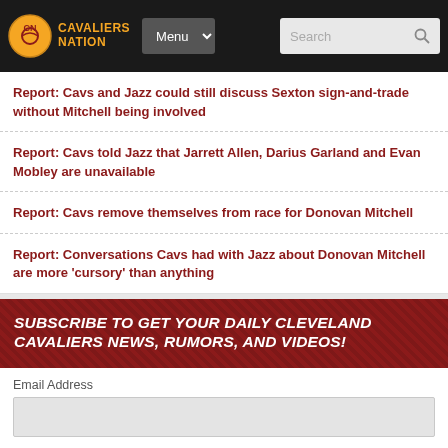Cavaliers Nation | Menu | Search
Report: Cavs and Jazz could still discuss Sexton sign-and-trade without Mitchell being involved
Report: Cavs told Jazz that Jarrett Allen, Darius Garland and Evan Mobley are unavailable
Report: Cavs remove themselves from race for Donovan Mitchell
Report: Conversations Cavs had with Jazz about Donovan Mitchell are more 'cursory' than anything
SUBSCRIBE TO GET YOUR DAILY CLEVELAND CAVALIERS NEWS, RUMORS, AND VIDEOS!
Email Address
First Name
Last Name